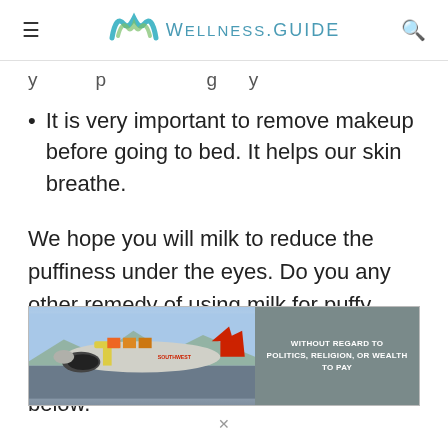WELLNESS.GUIDE
…y … p … g y…
It is very important to remove makeup before going to bed. It helps our skin breathe.
We hope you will milk to reduce the puffiness under the eyes. Do you any other remedy of using milk for puffy eyes. Share your experience and suggestion in the comments section below.
[Figure (photo): Advertisement banner showing an airplane being loaded with cargo, with text overlay 'WITHOUT REGARD TO POLITICS, RELIGION, OR WEALTH TO PAY']